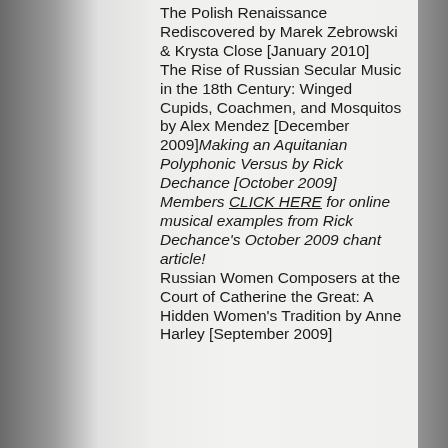The Polish Renaissance Rediscovered by Marek Zebrowski & Krysta Close [January 2010]
The Rise of Russian Secular Music in the 18th Century: Winged Cupids, Coachmen, and Mosquitos by Alex Mendez [December 2009]
Making an Aquitanian Polyphonic Versus by Rick Dechance [October 2009]
Members CLICK HERE for online musical examples from Rick Dechance's October 2009 chant article!
Russian Women Composers at the Court of Catherine the Great: A Hidden Women's Tradition by Anne Harley [September 2009]